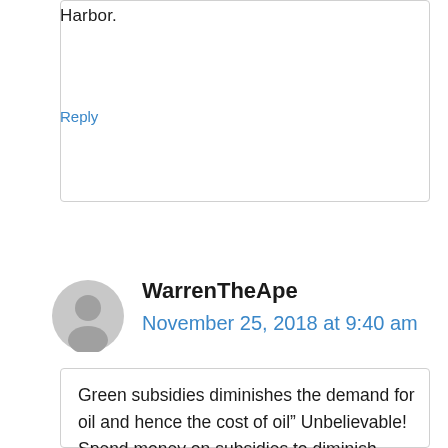Harbor.
Reply
WarrenTheApe
November 25, 2018 at 9:40 am
Green subsidies diminishes the demand for oil and hence the cost of oil” Unbelievable! Spend money on subsidies to diminish money spent somewhere else so NOT saving money. And we are soon to become net oil exporters. So there goes your